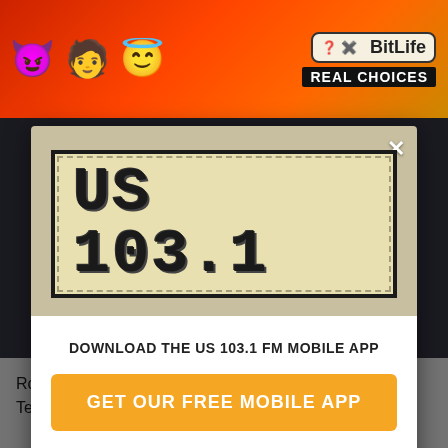[Figure (screenshot): Mobile app advertisement screenshot showing a popup modal for US 103.1 FM radio station. Top section has an orange/red ad banner with emojis and BitLife 'REAL CHOICES' advertisement. Modal has a tan background with the US 103.1 stamp-style logo, then a white section with download text, orange 'GET OUR FREE MOBILE APP' button, and 'Also listen on: amazon alexa' text with Alexa icon. Background page text reads 'Robert Plant and a guitar solo performed on his trusty Telecaster with a violin bow.']
Robert Plant and a guitar solo performed on his trusty Telecaster with a violin bow.